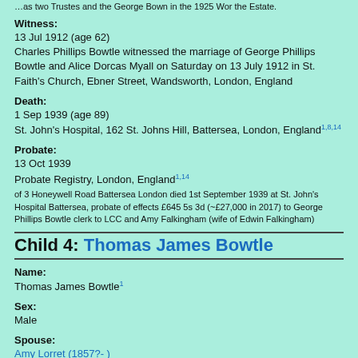…as two Trustes and the George Bown in the 1925 Wor the Estate.
Witness:
13 Jul 1912 (age 62)
Charles Phillips Bowtle witnessed the marriage of George Phillips Bowtle and Alice Dorcas Myall on Saturday on 13 July 1912 in St. Faith's Church, Ebner Street, Wandsworth, London, England
Death:
1 Sep 1939 (age 89)
St. John's Hospital, 162 St. Johns Hill, Battersea, London, England1,8,14
Probate:
13 Oct 1939
Probate Registry, London, England1,14
of 3 Honeywell Road Battersea London died 1st September 1939 at St. John's Hospital Battersea, probate of effects £645 5s 3d (~£27,000 in 2017) to George Phillips Bowtle clerk to LCC and Amy Falkingham (wife of Edwin Falkingham)
Child 4: Thomas James Bowtle
Name:
Thomas James Bowtle1
Sex:
Male
Spouse:
Amy Lorret (1857?- )